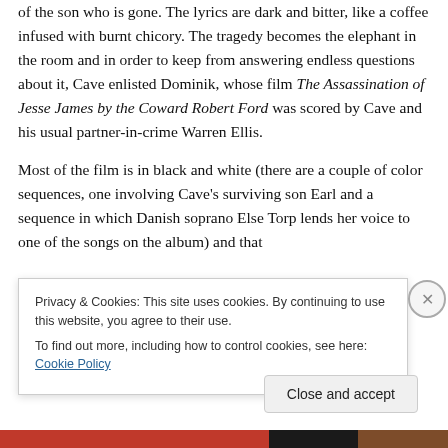of the son who is gone. The lyrics are dark and bitter, like a coffee infused with burnt chicory. The tragedy becomes the elephant in the room and in order to keep from answering endless questions about it, Cave enlisted Dominik, whose film The Assassination of Jesse James by the Coward Robert Ford was scored by Cave and his usual partner-in-crime Warren Ellis.
Most of the film is in black and white (there are a couple of color sequences, one involving Cave's surviving son Earl and a sequence in which Danish soprano Else Torp lends her voice to one of the songs on the album) and that
Privacy & Cookies: This site uses cookies. By continuing to use this website, you agree to their use.
To find out more, including how to control cookies, see here: Cookie Policy